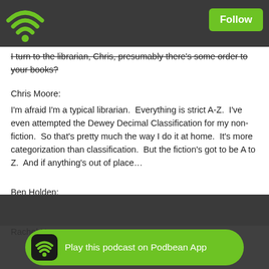Follow
I turn to the librarian, Chris, presumably there's some order to your books?
Chris Moore:
I'm afraid I'm a typical librarian.  Everything is strict A-Z.  I've even attempted the Dewey Decimal Classification for my non-fiction.  So that's pretty much the way I do it at home.  It's more categorization than classification.  But the fiction's got to be A to Z.  And if anything's out of place…
Ben Holden:
It would be madness!  Rachel?
Rachel New:
I like my g… browse the books… try to have some philosophy books and all sorts of different series…
[Figure (screenshot): Podbean app banner at bottom: green pill-shaped button with Podbean wifi icon and text 'Play this podcast on Podbean App']